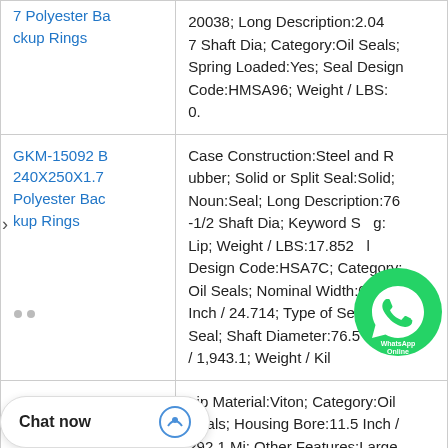| Product | Description |
| --- | --- |
| 7 Polyester Backup Rings | 20038; Long Description:2.047 Shaft Dia; Category:Oil Seals; Spring Loaded:Yes; Seal Design Code:HMSA96; Weight / LBS:0. |
| GKM-15092 B240X250X1.7 Polyester Backup Rings | Case Construction:Steel and Rubber; Solid or Split Seal:Solid; Noun:Seal; Long Description:76-1/2 Shaft Dia; Keyword Seal:Lip; Weight / LBS:17.852; Seal Design Code:HSA7C; Category:Oil Seals; Nominal Width:0.9 Inch / 24.714; Type of Seal:Oil Seal; Shaft Diameter:76.5 Inch / 1,943.1; Weight / Kil |
|  | Lip Material:Viton; Category:Oil Seals; Housing Bore:11.5 Inch / 292.1 Mi; Other Features:Large C; Harmonized Tari .93.50.20; Weight R07 Actual Width: |
Chat now